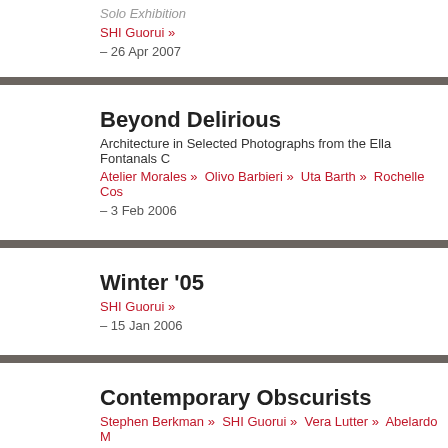Solo Exhibition
SHI Guorui »
– 26 Apr 2007
Beyond Delirious
Architecture in Selected Photographs from the Ella Fontanals C
Atelier Morales »  Olivo Barbieri »  Uta Barth »  Rochelle Cos
– 3 Feb 2006
Winter '05
SHI Guorui »
– 15 Jan 2006
Contemporary Obscurists
Stephen Berkman »  SHI Guorui »  Vera Lutter »  Abelardo M
– 12 Nov 2005